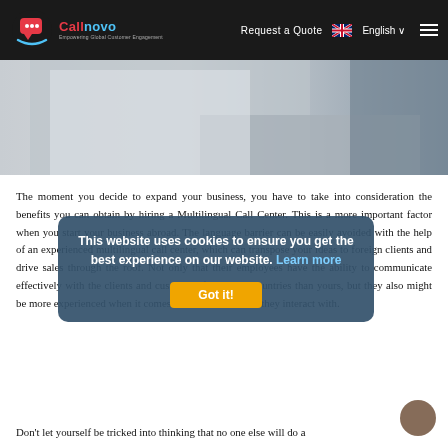Callnovo – Empowering Global Customer Engagement | Request a Quote  English
[Figure (photo): Office workers at computers, call center environment, cropped lower half visible]
The moment you decide to expand your business, you have to take into consideration the benefits you can obtain by hiring a Multilingual Call Center. This is a more important factor when you start your business abroad. The language barrier can be easily avoided with the help of an experienced multilingual call center, which can transpose your ideas to foreign clients and drive sales through the roof. Not only that their employees have the ability to communicate effectively with the clients and customers from other countries than yours, but they also might be more experienced when it comes to different cultures they interact with.
This website uses cookies to ensure you get the best experience on our website. Learn more
Got it!
Don't let yourself be tricked into thinking that no one else will do a